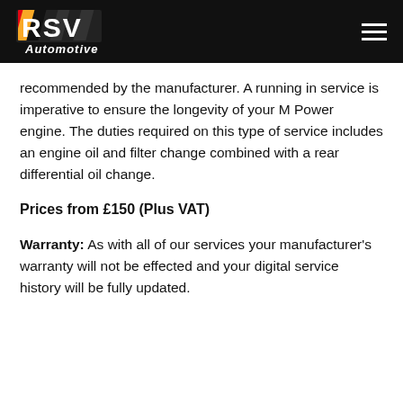RSV Automotive
recommended by the manufacturer. A running in service is imperative to ensure the longevity of your M Power engine. The duties required on this type of service includes an engine oil and filter change combined with a rear differential oil change.
Prices from £150 (Plus VAT)
Warranty: As with all of our services your manufacturer's warranty will not be effected and your digital service history will be fully updated.